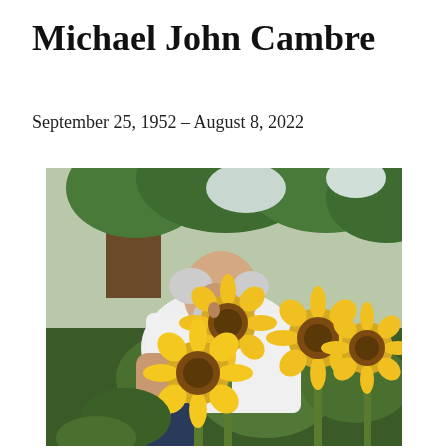Michael John Cambre
September 25, 1952 – August 8, 2022
[Figure (photo): An elderly man with white hair and beard, wearing a white shirt and jeans, leaning over sunflowers in a garden. Large trees are visible in the background. The photo is in color and appears to be taken outdoors.]